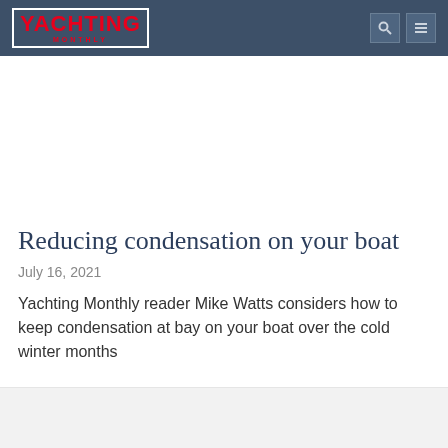YACHTING MONTHLY
Reducing condensation on your boat
July 16, 2021
Yachting Monthly reader Mike Watts considers how to keep condensation at bay on your boat over the cold winter months